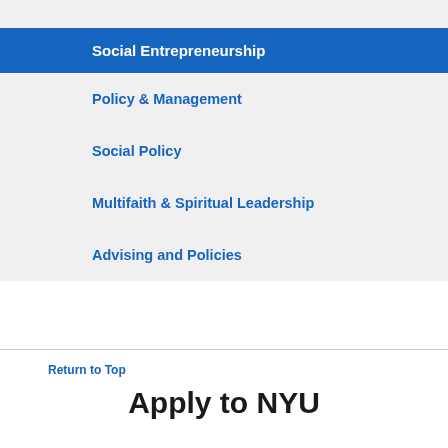Social Entrepreneurship
Policy & Management
Social Policy
Multifaith & Spiritual Leadership
Advising and Policies
Return to Top
Apply to NYU